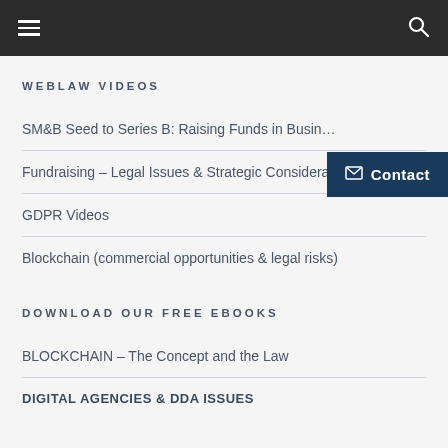Navigation header with hamburger menu and search icon
WEBLAW VIDEOS
SM&B Seed to Series B: Raising Funds in Busin…
Fundraising – Legal Issues & Strategic Considerations
GDPR Videos
Blockchain (commercial opportunities & legal risks)
DOWNLOAD OUR FREE EBOOKS
BLOCKCHAIN – The Concept and the Law
DIGITAL AGENCIES & DDA ISSUES